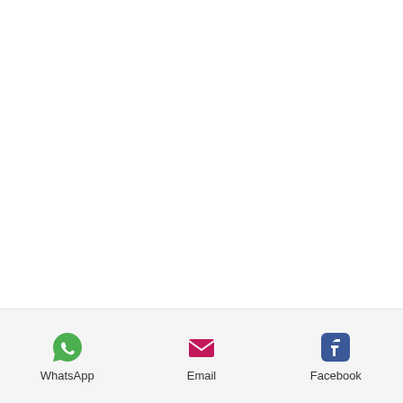[Figure (infographic): Mobile app share sheet footer bar with three options: WhatsApp (green phone icon), Email (pink/magenta envelope icon), Facebook (blue Facebook 'f' icon). Labels below each icon.]